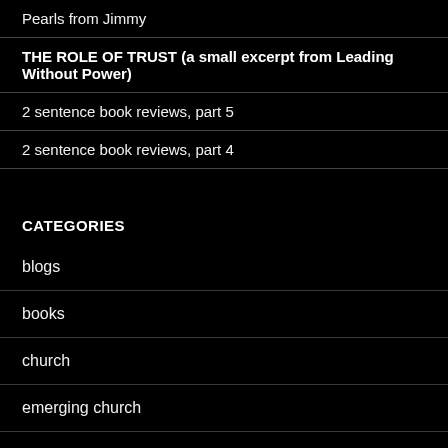Pearls from Jimmy
THE ROLE OF TRUST (a small excerpt from Leading Without Power)
2 sentence book reviews, part 5
2 sentence book reviews, part 4
CATEGORIES
blogs
books
church
emerging church
faith
family